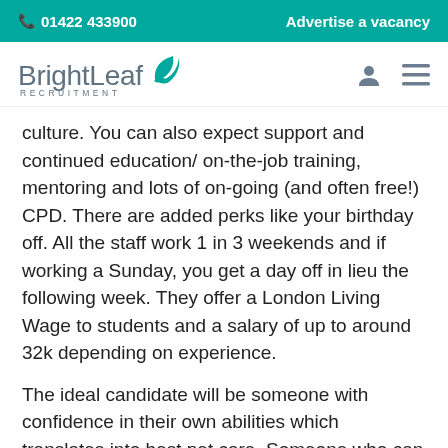📞 01422 433900   Advertise a vacancy
[Figure (logo): BrightLeaf Recruitment logo with teal leaf icon and gray text]
culture. You can also expect support and continued education/ on-the-job training, mentoring and lots of on-going (and often free!) CPD. There are added perks like your birthday off. All the staff work 1 in 3 weekends and if working a Sunday, you get a day off in lieu the following week. They offer a London Living Wage to students and a salary of up to around 32k depending on experience.
The ideal candidate will be someone with confidence in their own abilities which translates into best pet care. Someone who can work in a busy, sometimes high-pressure environment, and who can manage